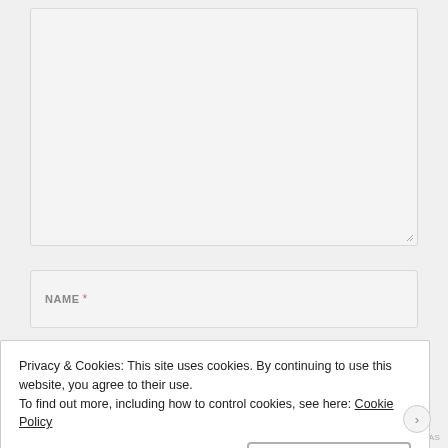[Figure (screenshot): Large textarea input box with light gray background and resize handle at bottom right]
[Figure (screenshot): Name form field with label 'NAME *' in gray uppercase text]
[Figure (screenshot): Email form field with label 'EMAIL *' partially visible behind cookie banner]
Privacy & Cookies: This site uses cookies. By continuing to use this website, you agree to their use.
To find out more, including how to control cookies, see here: Cookie Policy
Close and accept